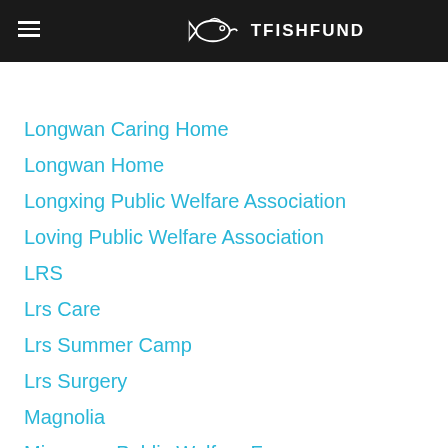TFISHFUND
Longwan Caring Home
Longwan Home
Longxing Public Welfare Association
Loving Public Welfare Association
LRS
Lrs Care
Lrs Summer Camp
Lrs Surgery
Magnolia
Mianyang Public Welfare Forum
Mianzhu Family
Mianzhu Heart To Heart Charity Team
Migrant Art School
Migrant Art School
Migrant School
Mingda School